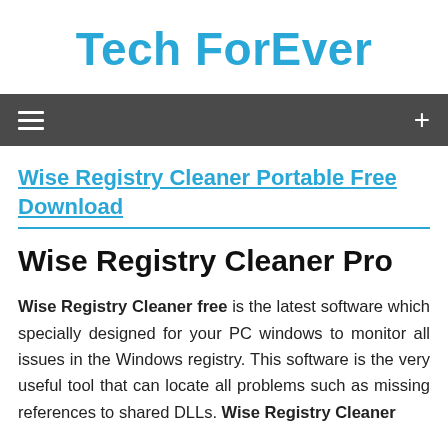Tech ForEver
Wise Registry Cleaner Portable Free Download
Wise Registry Cleaner Pro
Wise Registry Cleaner free is the latest software which specially designed for your PC windows to monitor all issues in the Windows registry. This software is the very useful tool that can locate all problems such as missing references to shared DLLs. Wise Registry Cleaner